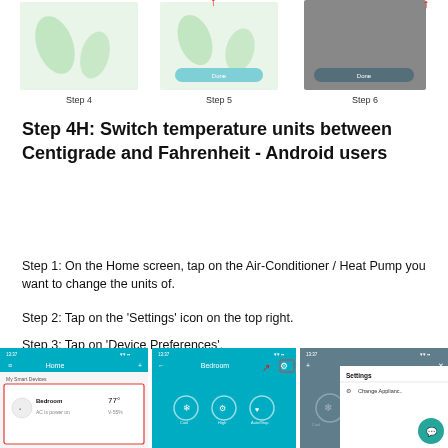[Figure (screenshot): Three step screenshots (Step 4, Step 5, Step 6) showing app screens with green leaf designs and a dark screen, with red arrow annotations and 'Done' button]
Step 4    Step 5    Step 6
Step 4H: Switch temperature units between Centigrade and Fahrenheit - Android users
Step 1: On the Home screen, tap on the Air-Conditioner / Heat Pump you want to change the units of.
Step 2: Tap on the 'Settings' icon on the top right.
Step 3: Tap on 'Device Preferences'.
[Figure (screenshot): Three phone screenshots showing the app Home screen with Bedroom device (77°), the Bedroom settings screen with Settings icon highlighted by red arrow, and the Settings panel with Change Appliance option]